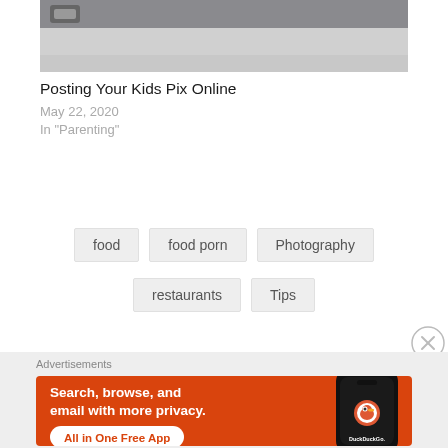[Figure (photo): Partial photo of a flat lay scene with gray/silver background, top portion visible]
Posting Your Kids Pix Online
May 22, 2020
In "Parenting"
food
food porn
Photography
restaurants
Tips
Advertisements
[Figure (screenshot): DuckDuckGo advertisement banner: orange background with text 'Search, browse, and email with more privacy. All in One Free App' with DuckDuckGo logo and phone image]